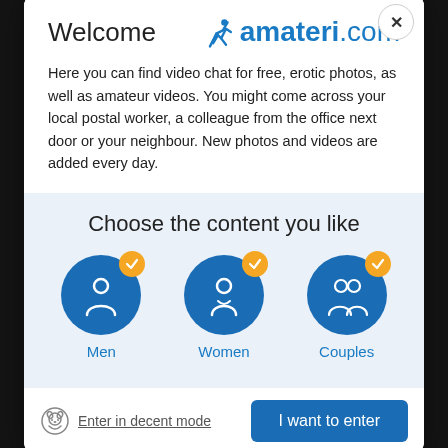Welcome
[Figure (logo): amateri.com logo with silhouette icon]
Here you can find video chat for free, erotic photos, as well as amateur videos. You might come across your local postal worker, a colleague from the office next door or your neighbour. New photos and videos are added every day.
Choose the content you like
[Figure (infographic): Three blue circular icons for Men, Women, and Couples, each with an orange checkmark badge]
Enter in decent mode
I want to enter